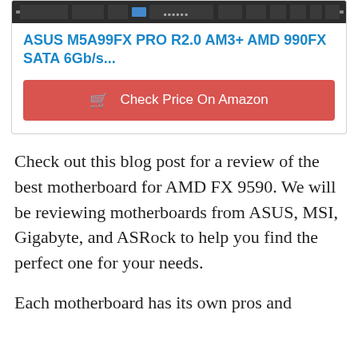[Figure (photo): Motherboard product image - ASUS M5A99FX PRO R2.0 circuit board photo]
ASUS M5A99FX PRO R2.0 AM3+ AMD 990FX SATA 6Gb/s...
[Figure (other): Check Price On Amazon button with shopping cart icon]
Check out this blog post for a review of the best motherboard for AMD FX 9590. We will be reviewing motherboards from ASUS, MSI, Gigabyte, and ASRock to help you find the perfect one for your needs.
Each motherboard has its own pros and cons, will to get on all of the pricing